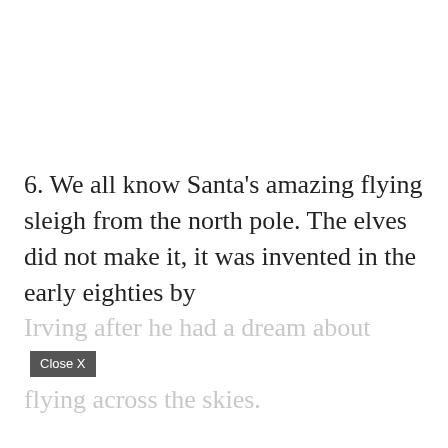6. We all know Santa's amazing flying sleigh from the north pole. The elves did not make it, it was invented in the early eighties by Irving after he had a dream about [Close X] flying across the skies.